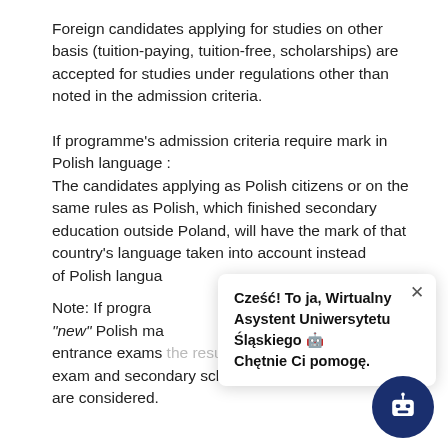Foreign candidates applying for studies on other basis (tuition-paying, tuition-free, scholarships) are accepted for studies under regulations other than noted in the admission criteria.
If programme's admission criteria require mark in Polish language :
The candidates applying as Polish citizens or on the same rules as Polish, which finished secondary education outside Poland, will have the mark of that country's language taken into account instead of Polish language.
Note: If programme's admission criteria require "new" Polish matura and the candidate took entrance exams the results of both entrance exam and secondary school graduation certificate are considered.